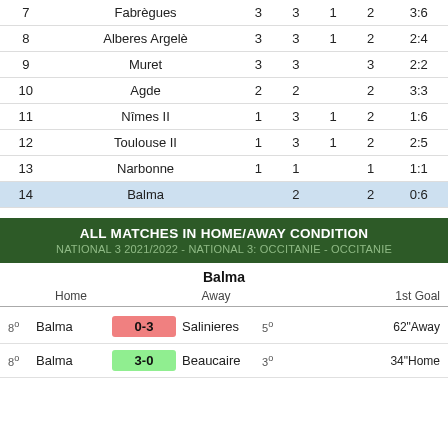| # | Team | Pts | GP | W | L | GD |
| --- | --- | --- | --- | --- | --- | --- |
| 7 | Fabrègues | 3 | 3 | 1 | 2 | 3:6 |
| 8 | Alberes Argelè | 3 | 3 | 1 | 2 | 2:4 |
| 9 | Muret | 3 | 3 |  | 3 | 2:2 |
| 10 | Agde | 2 | 2 |  | 2 | 3:3 |
| 11 | Nîmes II | 1 | 3 | 1 | 2 | 1:6 |
| 12 | Toulouse II | 1 | 3 | 1 | 2 | 2:5 |
| 13 | Narbonne | 1 | 1 |  | 1 | 1:1 |
| 14 | Balma |  | 2 |  | 2 | 0:6 |
ALL MATCHES IN HOME/AWAY CONDITION
NATIONAL 3 2021/2022 - NATIONAL 3: OCCITANIE - OCCITANIE
Balma
|  | Home | Score | Away |  | 1st Goal |
| --- | --- | --- | --- | --- | --- |
| 8º | Balma | 0-3 | Salinieres | 5º | 62"Away |
| 8º | Balma | 3-0 | Beaucaire | 3º | 34"Home |